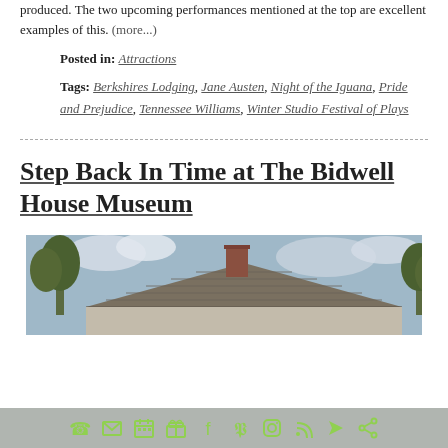produced. The two upcoming performances mentioned at the top are excellent examples of this. (more...)
Posted in: Attractions
Tags: Berkshires Lodging, Jane Austen, Night of the Iguana, Pride and Prejudice, Tennessee Williams, Winter Studio Festival of Plays
Step Back In Time at The Bidwell House Museum
[Figure (photo): Photograph of an old colonial house with a shingled roof and brick chimney, surrounded by trees against a cloudy sky.]
Social/contact icon bar with phone, email, calendar, gift, Facebook, Pinterest, Instagram, RSS, navigation, and share icons